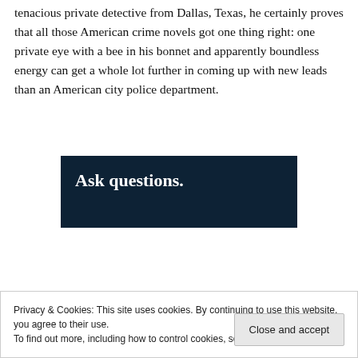tenacious private detective from Dallas, Texas, he certainly proves that all those American crime novels got one thing right: one private eye with a bee in his bonnet and apparently boundless energy can get a whole lot further in coming up with new leads than an American city police department.
[Figure (other): Dark navy banner with bold white text reading 'Ask questions.']
Privacy & Cookies: This site uses cookies. By continuing to use this website, you agree to their use.
To find out more, including how to control cookies, see here: Cookie Policy